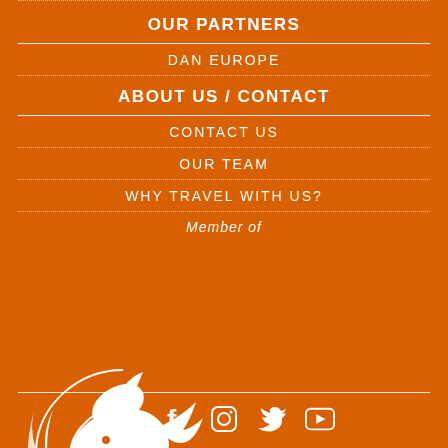OUR PARTNERS
DAN EUROPE
ABOUT US / CONTACT
CONTACT US
OUR TEAM
WHY TRAVEL WITH US?
Member of
[Figure (logo): Dune travel company logo - white dolphin/wave design with DUNE text on orange background]
Social media icons: TripAdvisor, Facebook, Instagram, Twitter, YouTube